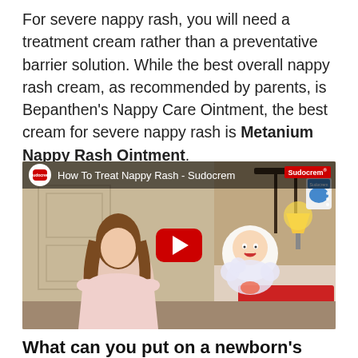For severe nappy rash, you will need a treatment cream rather than a preventative barrier solution. While the best overall nappy rash cream, as recommended by parents, is Bepanthen's Nappy Care Ointment, the best cream for severe nappy rash is Metanium Nappy Rash Ointment.
[Figure (screenshot): YouTube video thumbnail titled 'How To Treat Nappy Rash - Sudocrem' showing a woman in a bedroom setting with a cartoon baby graphic and a red YouTube play button. Sudocrem branding visible.]
What can you put on a newborn's sore